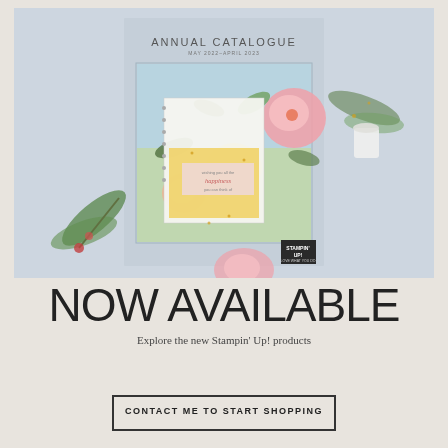[Figure (illustration): Cover of the Stampin' Up! Annual Catalogue May 2022–April 2023, showing a handmade floral card with pink, yellow, and peach flowers, greenery, and a sentiment tag reading 'wishing you all the happiness you can think of', on a light blue-grey background.]
NOW AVAILABLE
Explore the new Stampin' Up! products
CONTACT ME TO START SHOPPING